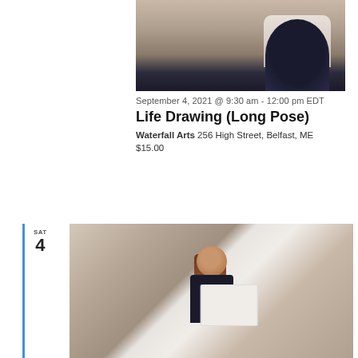[Figure (photo): Person with white/grey hair, seen from behind, crouching or sitting, drawing on a wall. Art studio setting.]
September 4, 2021 @ 9:30 am - 12:00 pm EDT
Life Drawing (Long Pose)
Waterfall Arts 256 High Street, Belfast, ME
$15.00
SAT
4
[Figure (photo): Young woman with long brown hair, smiling, holding up a piece of paper with a drawing on it. She is wearing a black t-shirt. Indoor setting with white cabinets in background.]